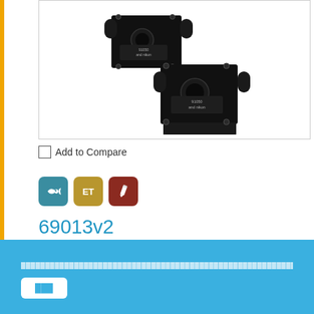[Figure (photo): Two black optical filter cube/fluorescence filter set housings for microscopy, shown at an angle. Both are black metal components with circular apertures and mounting flanges. They appear to be Chroma or similar brand microscopy filter sets.]
Add to Compare
[Figure (infographic): Three colored icon badges: a teal fish icon, a golden/yellow 'ET' text badge, and a dark red pencil/edit icon]
69013v2
NC926035 - ET - DAPI/Green/Orange #1 FISH
footer text and button area